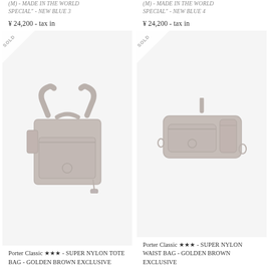(M) - MADE IN THE WORLD SPECIAL" - NEW BLUE 3
¥ 24,200 - tax in
(M) - MADE IN THE WORLD SPECIAL" - NEW BLUE 4
¥ 24,200 - tax in
[Figure (photo): Porter Classic tote bag in golden brown nylon, SOLD overlay badge in top-left corner]
Porter Classic ★★★ - SUPER NYLON TOTE BAG - GOLDEN BROWN EXCLUSIVE
[Figure (photo): Porter Classic waist bag in golden brown nylon, SOLD overlay badge in top-left corner]
Porter Classic ★★★ - SUPER NYLON WAIST BAG - GOLDEN BROWN EXCLUSIVE